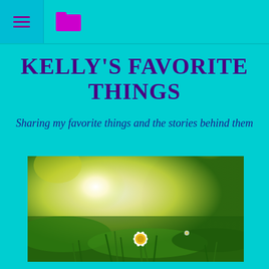hamburger menu and folder icon navigation bar
KELLY'S FAVORITE THINGS
Sharing my favorite things and the stories behind them
[Figure (photo): Close-up photo of a white daisy flower with yellow center growing in green grass, with a bright yellow and white bokeh background suggesting sunlight through foliage]